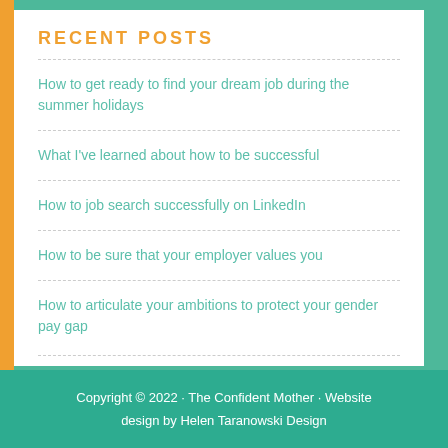RECENT POSTS
How to get ready to find your dream job during the summer holidays
What I've learned about how to be successful
How to job search successfully on LinkedIn
How to be sure that your employer values you
How to articulate your ambitions to protect your gender pay gap
Copyright © 2022 · The Confident Mother · Website design by Helen Taranowski Design